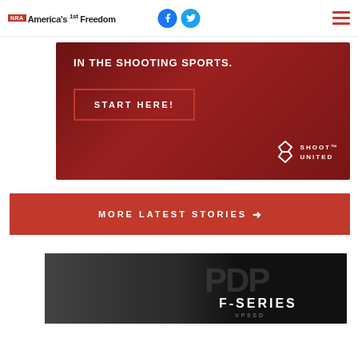NRA America's 1st Freedom
[Figure (screenshot): Shoot United advertisement banner with dark red background, text 'IN THE SHOOTING SPORTS.' and 'START HERE!' button with Shoot United logo]
MORE LATEST STORIES →
[Figure (photo): PDP F-Series advertisement banner showing a woman aiming a pistol with PDP F-SERIES text overlay]